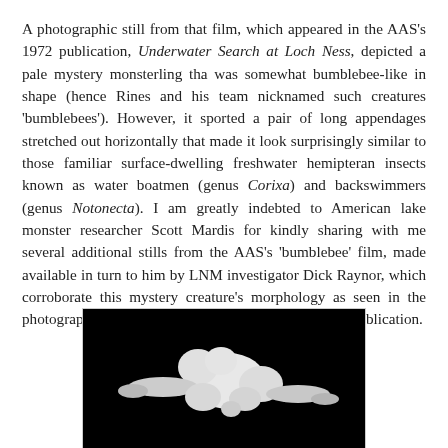A photographic still from that film, which appeared in the AAS's 1972 publication, Underwater Search at Loch Ness, depicted a pale mystery monsterling tha was somewhat bumblebee-like in shape (hence Rines and his team nicknamed such creatures 'bumblebees'). However, it sported a pair of long appendages stretched out horizontally that made it look surprisingly similar to those familiar surface-dwelling freshwater hemipteran insects known as water boatmen (genus Corixa) and backswimmers (genus Notonecta). I am greatly indebted to American lake monster researcher Scott Mardis for kindly sharing with me several additional stills from the AAS's 'bumblebee' film, made available in turn to him by LNM investigator Dick Raynor, which corroborate this mystery creature's morphology as seen in the photograph contained in the AAS's above-noted 1972 publication.
[Figure (photo): Black and white photographic still showing a pale white creature shape against a dark/black background, appearing somewhat bumblebee-like with appendages stretched horizontally.]